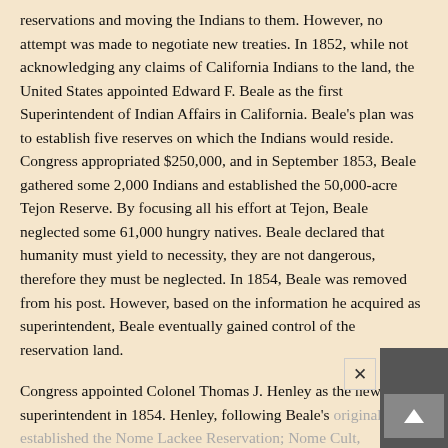reservations and moving the Indians to them. However, no attempt was made to negotiate new treaties. In 1852, while not acknowledging any claims of California Indians to the land, the United States appointed Edward F. Beale as the first Superintendent of Indian Affairs in California. Beale's plan was to establish five reserves on which the Indians would reside. Congress appropriated $250,000, and in September 1853, Beale gathered some 2,000 Indians and established the 50,000-acre Tejon Reserve. By focusing all his effort at Tejon, Beale neglected some 61,000 hungry natives. Beale declared that humanity must yield to necessity, they are not dangerous, therefore they must be neglected. In 1854, Beale was removed from his post. However, based on the information he acquired as superintendent, Beale eventually gained control of the reservation land.
Congress appointed Colonel Thomas J. Henley as the new superintendent in 1854. Henley, following Beale's original plan, established the Nome Lackee Reservation; Nome Cult, Mendocino; Fresno Indian